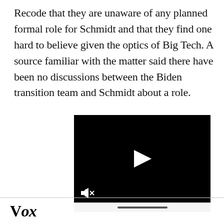Recode that they are unaware of any planned formal role for Schmidt and that they find one hard to believe given the optics of Big Tech. A source familiar with the matter said there have been no discussions between the Biden transition team and Schmidt about a role.
[Figure (screenshot): A black video player with a white play button triangle in the center, a mute icon in the lower left corner, and a progress bar area at the bottom.]
Vox